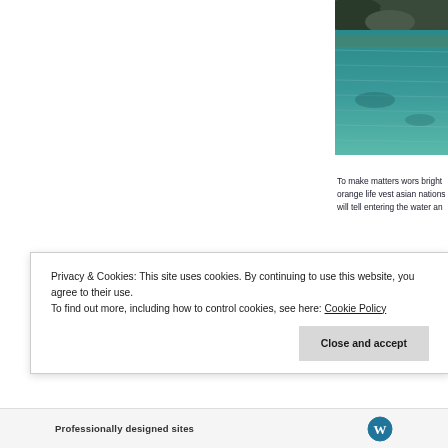[Figure (photo): Aerial or close-up view of turquoise-green water, possibly a lagoon or bay, with dark rocky formations visible at top]
To make matters wors bright orange life vest asian nations will tell entering the water an
Small lagoon is more the sheer number of b move aside so that a years ago we had the
Privacy & Cookies: This site uses cookies. By continuing to use this website, you agree to their use.
To find out more, including how to control cookies, see here: Cookie Policy
Close and accept
Professionally designed sites